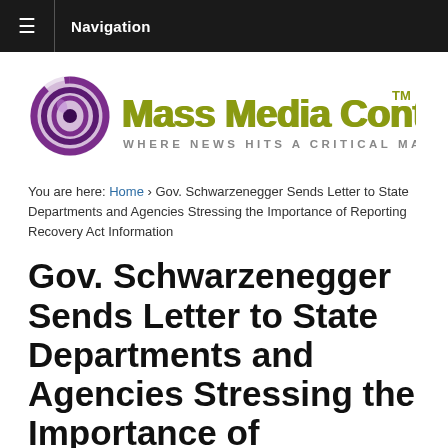≡ Navigation
[Figure (logo): Mass Media Content logo with purple circular swirl icon and olive/yellow-green text reading 'Mass Media Content™ WHERE NEWS HITS A CRITICAL MASS']
You are here: Home › Gov. Schwarzenegger Sends Letter to State Departments and Agencies Stressing the Importance of Reporting Recovery Act Information
Gov. Schwarzenegger Sends Letter to State Departments and Agencies Stressing the Importance of Reporting Recovery Act Information